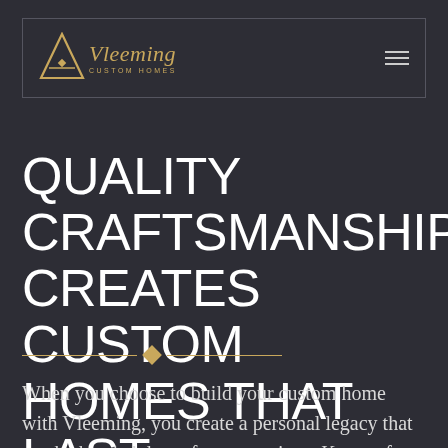Vleeming Custom Homes
QUALITY CRAFTSMANSHIP CREATES CUSTOM HOMES THAT LAST
When you choose to build your custom home with Vleeming, you create a personal legacy that can be handed down for generations. Known for our